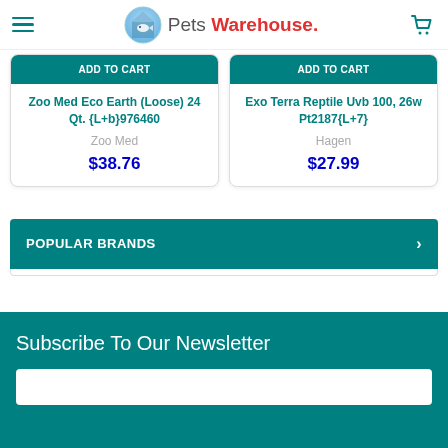Pets Warehouse
Zoo Med Eco Earth (Loose) 24 Qt. {L+b}976460
Zoo Med
$38.76
Exo Terra Reptile Uvb 100, 26w Pt2187{L+7}
Hagen
$27.99
POPULAR BRANDS
Subscribe To Our Newsletter